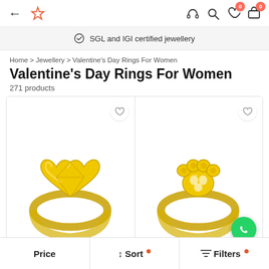← ✦  [headset] [search] [heart 0] [bag 0]
SGL and IGI certified jewellery
Home > Jewellery > Valentine's Day Rings For Women
Valentine's Day Rings For Women
271 products
[Figure (photo): Two gold rings on white background - left ring has a heart-shaped design, right ring has a paw print design. Both are displayed in product cards in a grid layout.]
Price  ↑↓ Sort  ☰ Filters